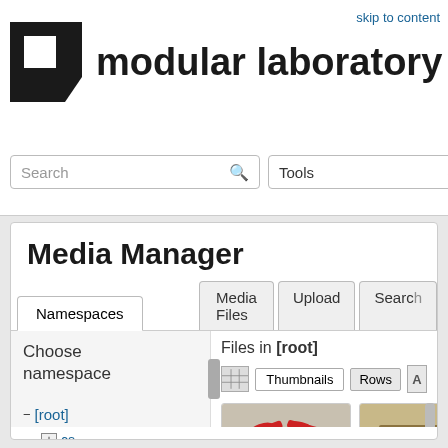skip to content
modular laboratory
Search
Tools
Media Manager
Namespaces
Media Files
Upload
Search
Choose namespace
Files in [root]
Thumbnails
Rows
− [root]
+ cs
− en
+ wiki
[Figure (photo): Crimp pliers with red handles]
crimp_pli...
[Figure (photo): Electronic circuit board with wiring]
direct_m...